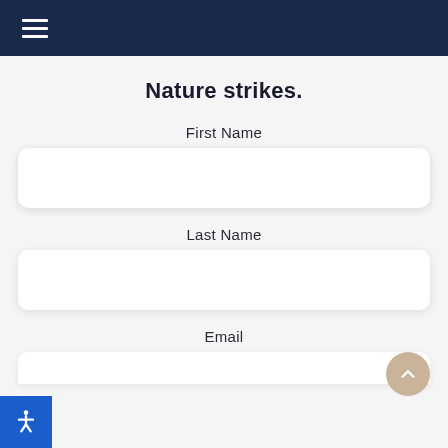Navigation bar with hamburger menu
Nature strikes.
First Name
Last Name
Email